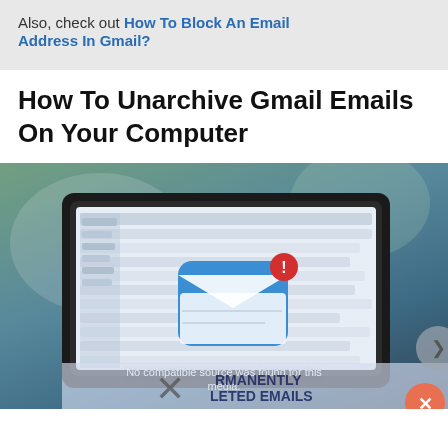Also, check out How To Block An Email Address In Gmail?
How To Unarchive Gmail Emails On Your Computer
[Figure (screenshot): A laptop displaying a Gmail inbox with an email notification icon overlay. Below the laptop, a semi-transparent overlay shows partial text about permanently deleted emails from Gmail, with an X button. A 'No compatible source was found for this media.' message is displayed over the image.]